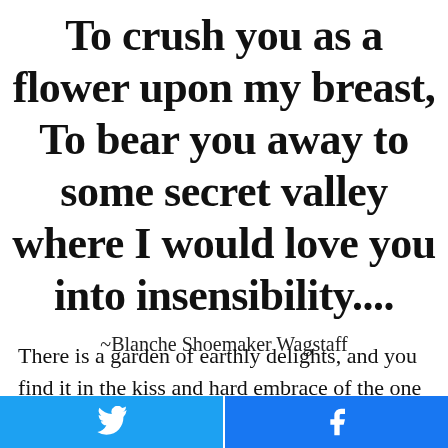To crush you as a flower upon my breast, To bear you away to some secret valley where I would love you into insensibility....
~Blanche Shoemaker Wagstaff
There is a garden of earthly delights, and you find it in the kiss and hard embrace of the one you love. You don't find